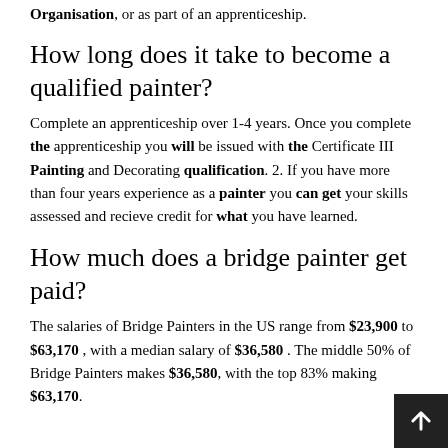Organisation, or as part of an apprenticeship.
How long does it take to become a qualified painter?
Complete an apprenticeship over 1-4 years. Once you complete the apprenticeship you will be issued with the Certificate III Painting and Decorating qualification. 2. If you have more than four years experience as a painter you can get your skills assessed and recieve credit for what you have learned.
How much does a bridge painter get paid?
The salaries of Bridge Painters in the US range from $23,900 to $63,170, with a median salary of $36,580. The middle 50% of Bridge Painters makes $36,580, with the top 83% making $63,170.